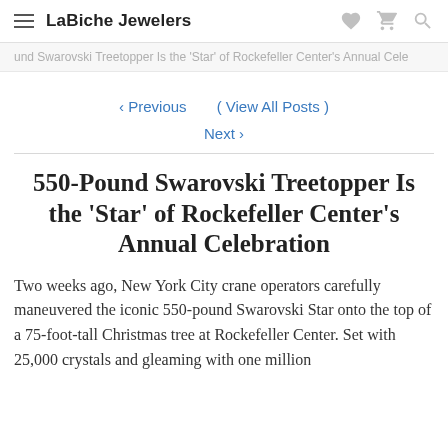LaBiche Jewelers
und Swarovski Treetopper Is the 'Star' of Rockefeller Center's Annual Cele
‹ Previous   ( View All Posts )   Next ›
550-Pound Swarovski Treetopper Is the 'Star' of Rockefeller Center's Annual Celebration
Two weeks ago, New York City crane operators carefully maneuvered the iconic 550-pound Swarovski Star onto the top of a 75-foot-tall Christmas tree at Rockefeller Center. Set with 25,000 crystals and gleaming with one million